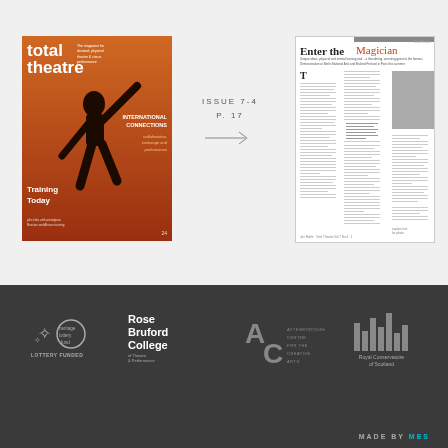[Figure (photo): Cover of Total Theatre magazine, issue 7-4, with text 'INTERNATIONAL CONNECTIONS - collaboration, exchange and performance' and 'Training Today', showing a dancer silhouette on orange/brown background]
ISSUE 7-4
P. 17
[Figure (illustration): Arrow pointing right]
[Figure (photo): Article page from Total Theatre magazine titled 'Enter the Magician' with multi-column text layout and a black and white photograph]
[Figure (logo): Heritage Lottery Fund logo with text LOTTERY FUNDED]
[Figure (logo): Rose Bruford College of Theatre & Performance logo]
[Figure (logo): Attenborough Centre for the Creative Arts (AC) logo]
[Figure (logo): Royal Conservatoire of Scotland logo with vertical bars]
MADE BY MES